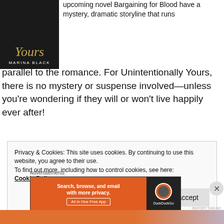[Figure (illustration): Book cover for 'Unintentionally Yours' by Marina Black — dark background with gold italic script title and white author name]
upcoming novel Bargaining for Blood have a mystery, dramatic storyline that runs parallel to the romance. For Unintentionally Yours, there is no mystery or suspense involved—unless you're wondering if they will or won't live happily ever after!
[Figure (screenshot): DuckDuckGo advertisement banner: orange panel with text 'Search, browse, and email with more privacy. All in One Free App' and dark panel with DuckDuckGo logo]
Privacy & Cookies: This site uses cookies. By continuing to use this website, you agree to their use.
To find out more, including how to control cookies, see here:
Cookie Policy
Close and accept